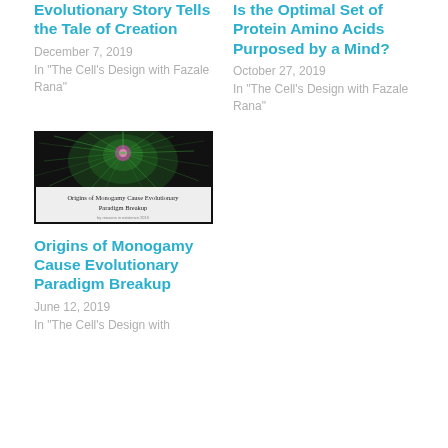Evolutionary Story Tells the Tale of Creation
December 7, 2019
In "The Cell's Design with Fazale Rana"
Is the Optimal Set of Protein Amino Acids Purposed by a Mind?
October 27, 2019
In "The Cell's Design with Fazale Rana"
[Figure (photo): Book cover or article thumbnail for 'Origins of Monogamy Cause Evolutionary Paradigm Breakup' — dark background with a glowing fractal/neuron-like image and white text overlay at bottom.]
Origins of Monogamy Cause Evolutionary Paradigm Breakup
June 12, 2019
In "The Cell's Design with